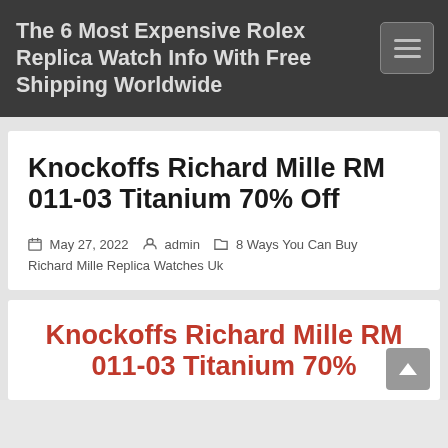The 6 Most Expensive Rolex Replica Watch Info With Free Shipping Worldwide
Knockoffs Richard Mille RM 011-03 Titanium 70% Off
May 27, 2022   admin   8 Ways You Can Buy Richard Mille Replica Watches Uk
Knockoffs Richard Mille RM 011-03 Titanium 70%